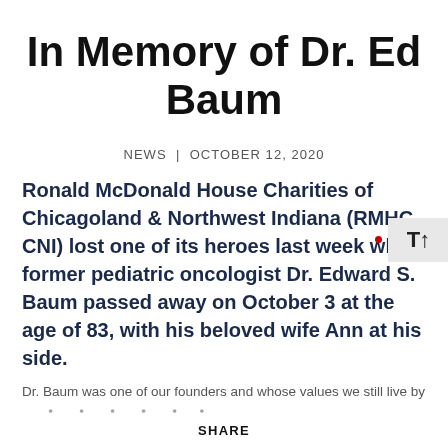In Memory of Dr. Ed Baum
NEWS  |  OCTOBER 12, 2020
Ronald McDonald House Charities of Chicagoland & Northwest Indiana (RMHC-CNI) lost one of its heroes last week when former pediatric oncologist Dr. Edward S. Baum passed away on October 3 at the age of 83, with his beloved wife Ann at his side.
Dr. Baum was one of our founders and whose values we still live by
SHARE